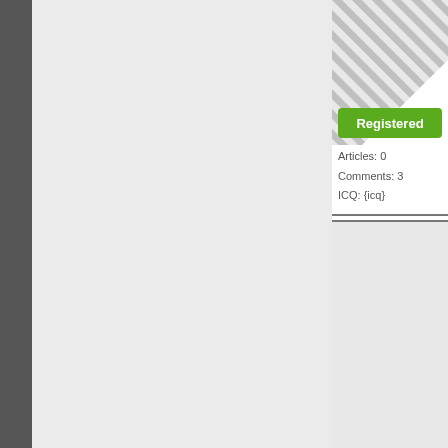[Figure (illustration): User avatar with diagonal stripe pattern and green Registered badge, top card]
Articles: 0
Comments: 3
ICQ: {icq}
Go
Is
<a
<a

Go
Is
Big

Go
Is
Big
[Figure (illustration): User avatar with diagonal stripe pattern and green Registered badge, bottom card]
big
U
I am
act
Pin
Articles: 0
Comments: 3
ICQ: {icq}